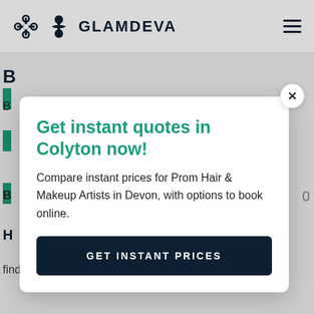GLAMDEVA
[Figure (screenshot): Glamdeva website screenshot showing a modal popup with 'Get instant quotes in Colyton now!' over a page listing prom hair and makeup artists in Devon.]
Get instant quotes in Colyton now!
Compare instant prices for Prom Hair & Makeup Artists in Devon, with options to book online.
GET INSTANT PRICES
finding a hair & makeup artist. Before this we...